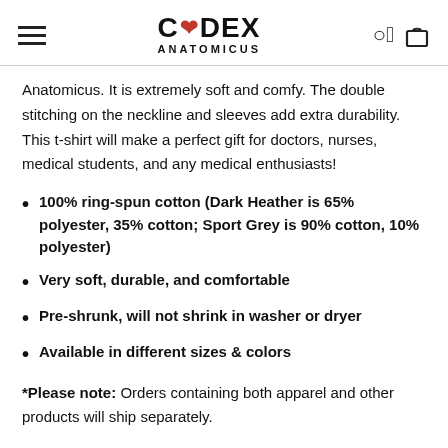CODEX ANATOMICUS
Anatomicus. It is extremely soft and comfy. The double stitching on the neckline and sleeves add extra durability. This t-shirt will make a perfect gift for doctors, nurses, medical students, and any medical enthusiasts!
100% ring-spun cotton (Dark Heather is 65% polyester, 35% cotton; Sport Grey is 90% cotton, 10% polyester)
Very soft, durable, and comfortable
Pre-shrunk, will not shrink in washer or dryer
Available in different sizes & colors
*Please note: Orders containing both apparel and other products will ship separately.